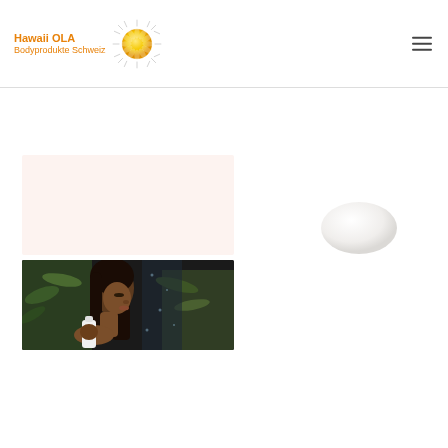Hawaii OLA Bodyprodukte Schweiz
[Figure (logo): Hawaii OLA Bodyprodukte Schweiz logo with sun/edelweiss graphic]
[Figure (photo): Light pink/cream rectangular background box]
[Figure (photo): Oval white soap or body product]
[Figure (photo): Woman with dark wet hair holding a white bottle product, surrounded by green plants in a shower setting]